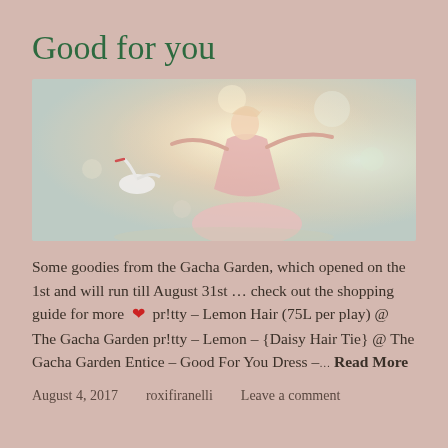Good for you
[Figure (photo): A dreamy, soft-focus fantasy photo of a woman in a pink ball gown dress, arms outstretched, with a white bird to her left, set against a pastel bokeh background.]
Some goodies from the Gacha Garden, which opened on the 1st and will run till August 31st … check out the shopping guide for more ❤ pr!tty – Lemon Hair (75L per play) @ The Gacha Garden pr!tty – Lemon – {Daisy Hair Tie} @ The Gacha Garden Entice – Good For You Dress –… Read More
August 4, 2017    roxifiranelli    Leave a comment